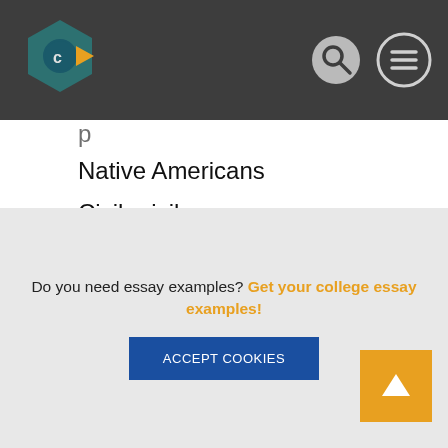[Figure (logo): Circular hexagonal logo in teal and yellow, with search icon and hamburger menu icon on dark header bar]
Native Americans
Civil privileges
Experience
Software program
This country
Criminal offense
This point
Your computer
Short
Soft drink
Civil
Do you need essay examples? Get your college essay examples!
Accept Cookies